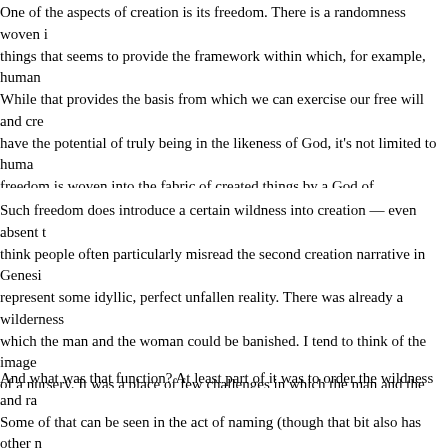One of the aspects of creation is its freedom. There is a randomness woven in things that seems to provide the framework within which, for example, human While that provides the basis from which we can exercise our free will and crea have the potential of truly being in the likeness of God, it's not limited to huma freedom is woven into the fabric of created things by a God of overflowing love as part of creation, also an innately good thing.
Such freedom does introduce a certain wildness into creation — even absent t think people often particularly misread the second creation narrative in Genesi represent some idyllic, perfect unfallen reality. There was already a wilderness which the man and the woman could be banished. I tend to think of the image of a nursery. It was a place of few challenges in which the man and the woman their created function.
And what was that function? At least part of it was to order the wildness and ra Some of that can be seen in the act of naming (though that bit also has other n are powerful. It's also seen in God's command to them. A part of our natural fu priests in creation, offering it back to God in Thanksgiving. In this sense, Jesus storm, healing the sick, and feeding the many displays his true humanity at lea divinity. Yet, the story of the garden illustrates that even in the safest possible n